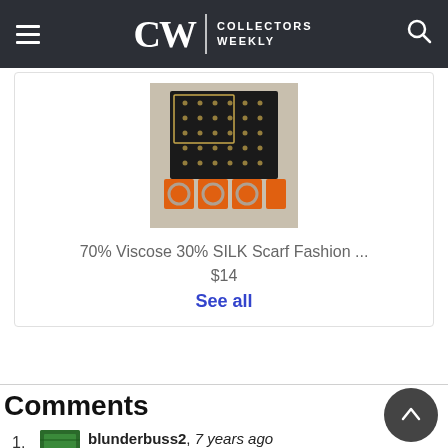CW | COLLECTORS WEEKLY
[Figure (photo): Product photo of a silk scarf with black and gold pattern, displayed with orange accessories/bracelets]
70% Viscose 30% SILK Scarf Fashion ...
$14
See all
Comments
1. blunderdbuss2, 7 years ago
When were these made ?